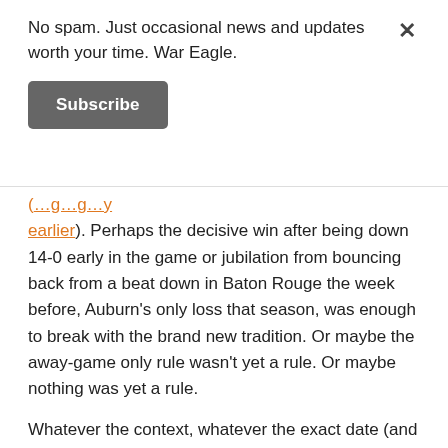No spam. Just occasional news and updates worth your time. War Eagle.
Subscribe
(…earlier). Perhaps the decisive win after being down 14-0 early in the game or jubilation from bouncing back from a beat down in Baton Rouge the week before, Auburn's only loss that season, was enough to break with the brand new tradition. Or maybe the away-game only rule wasn't yet a rule. Or maybe nothing was yet a rule.
Whatever the context, whatever the exact date (and sure, whatever, we could be off by centuries*), we at least have six more examples of what the Click-it-Or Ticket-less orgies of toilet paper held in the historic center of Toomer's Corner intersection looked like. And we have